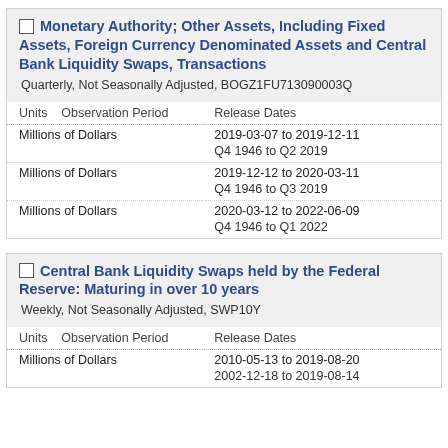Monetary Authority; Other Assets, Including Fixed Assets, Foreign Currency Denominated Assets and Central Bank Liquidity Swaps, Transactions
Quarterly, Not Seasonally Adjusted, BOGZ1FU713090003Q
| Units | Observation Period | Release Dates |
| --- | --- | --- |
| Millions of Dollars |  | 2019-03-07 to 2019-12-11 |
|  |  | Q4 1946 to Q2 2019 |
| Millions of Dollars |  | 2019-12-12 to 2020-03-11 |
|  |  | Q4 1946 to Q3 2019 |
| Millions of Dollars |  | 2020-03-12 to 2022-06-09 |
|  |  | Q4 1946 to Q1 2022 |
Central Bank Liquidity Swaps held by the Federal Reserve: Maturing in over 10 years
Weekly, Not Seasonally Adjusted, SWP10Y
| Units | Observation Period | Release Dates |
| --- | --- | --- |
| Millions of Dollars |  | 2010-05-13 to 2019-08-20 |
|  |  | 2002-12-18 to 2019-08-14 |